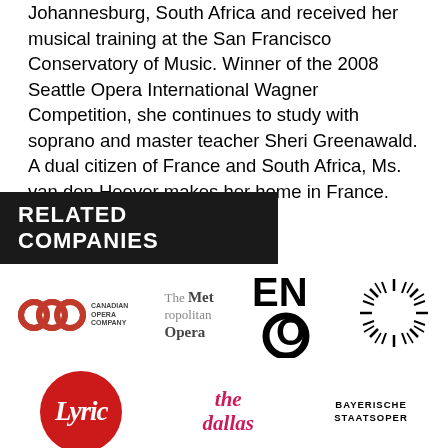Johannesburg, South Africa and received her musical training at the San Francisco Conservatory of Music. Winner of the 2008 Seattle Opera International Wagner Competition, she continues to study with soprano and master teacher Sheri Greenawald. A dual citizen of France and South Africa, Ms. van den Heever makes her home in France.
RELATED COMPANIES
[Figure (logo): Canadian Opera Company logo with overlapping circular arcs in red/dark and small text]
[Figure (logo): The Metropolitan Opera text logo in grey serif font]
[Figure (logo): ENO (English National Opera) logo with large letters and circle]
[Figure (logo): Starburst/sunburst circular logo in black]
[Figure (logo): Lyric Opera logo - italic white text on red circle]
[Figure (logo): The Dallas Opera logo in pink/magenta italic serif]
[Figure (logo): Bayerische Staatsoper text logo]